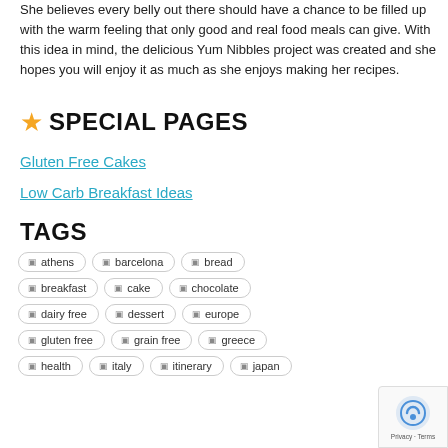She believes every belly out there should have a chance to be filled up with the warm feeling that only good and real food meals can give. With this idea in mind, the delicious Yum Nibbles project was created and she hopes you will enjoy it as much as she enjoys making her recipes.
★ SPECIAL PAGES
Gluten Free Cakes
Low Carb Breakfast Ideas
TAGS
athens
barcelona
bread
breakfast
cake
chocolate
dairy free
dessert
europe
gluten free
grain free
greece
health
italy
itinerary
japan